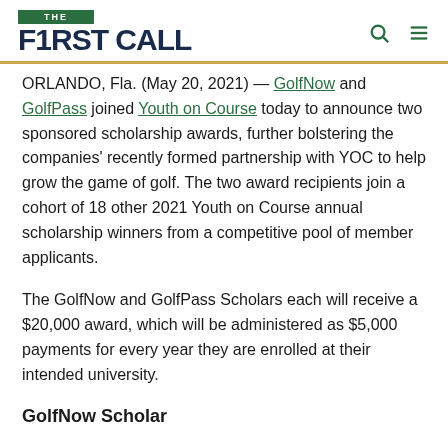THE F1RST CALL
ORLANDO, Fla. (May 20, 2021) — GolfNow and GolfPass joined Youth on Course today to announce two sponsored scholarship awards, further bolstering the companies' recently formed partnership with YOC to help grow the game of golf. The two award recipients join a cohort of 18 other 2021 Youth on Course annual scholarship winners from a competitive pool of member applicants.
The GolfNow and GolfPass Scholars each will receive a $20,000 award, which will be administered as $5,000 payments for every year they are enrolled at their intended university.
GolfNow Scholar